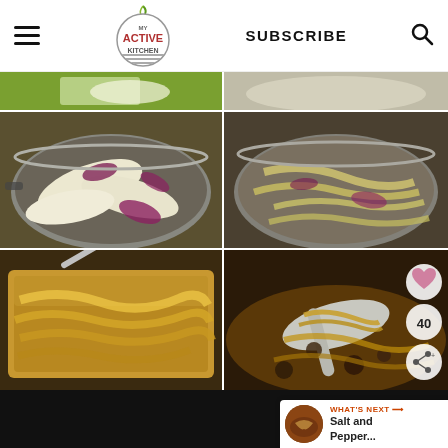MY ACTIVE KITCHEN | SUBSCRIBE
[Figure (photo): A 2x3 photo grid showing stages of caramelizing onions: top strip shows raw onions being prepared; middle left shows white and red onion slices in a stainless steel pan; middle right shows onions further softened in a pan; bottom left shows golden caramelized onions in a baking dish; bottom right shows dark caramelized onions on a spoon close-up.]
40
WHAT'S NEXT → Salt and Pepper...